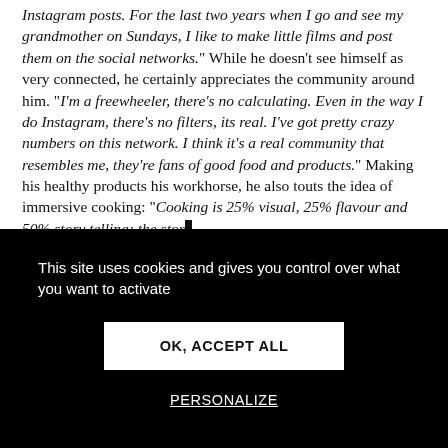Instagram posts. For the last two years when I go and see my grandmother on Sundays, I like to make little films and post them on the social networks." While he doesn't see himself as very connected, he certainly appreciates the community around him. "I'm a freewheeler, there's no calculating. Even in the way I do Instagram, there's no filters, its real. I've got pretty crazy numbers on this network. I think it's a real community that resembles me, they're fans of good food and products." Making his healthy products his workhorse, he also touts the idea of immersive cooking: "Cooking is 25% visual, 25% flavour and 50% story telling; the story
This site uses cookies and gives you control over what you want to activate
OK, ACCEPT ALL
PERSONALIZE